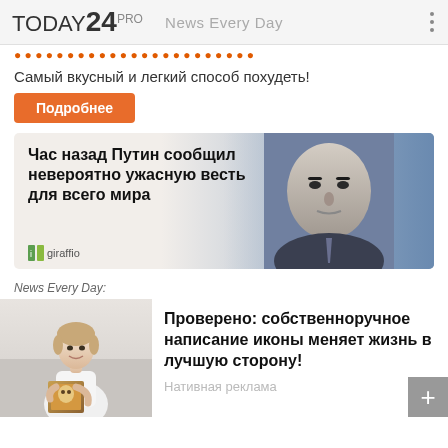TODAY 24 PRO  News Every Day
Самый вкусный и легкий способ похудеть!
Подробнее
[Figure (photo): Banner advertisement with text 'Час назад Путин сообщил невероятно ужасную весть для всего мира' on left side and a photo of a man on right side, with giraffio source label]
News Every Day:
[Figure (photo): Thumbnail photo of a woman holding an icon painting]
Проверено: собственноручное написание иконы меняет жизнь в лучшую сторону!
Нативная реклама